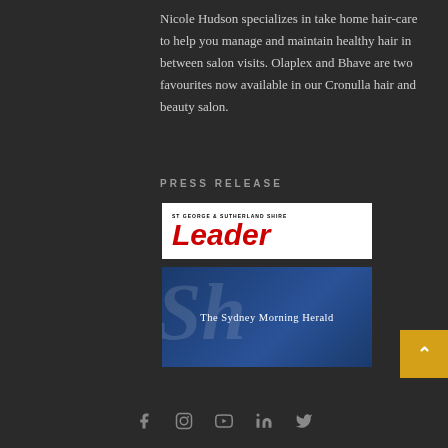Nicole Hudson specializes in take home hair-care to help you manage and maintain healthy hair in between salon visits. Olaplex and Bhave are two favourites now available in our Cronulla hair and beauty salon.
PRESS RELEASE
[Figure (logo): St George & Sutherland Shire Leader newspaper logo — white background with red bold 'Leader' text and small subtitle above]
[Figure (logo): The Sydney Morning Herald logo — dark navy/blue background with large watermark letters and white serif text 'The Sydney Morning Herald']
[Figure (other): Golden/amber back-to-top button with upward arrow]
[Figure (infographic): Social media icons row: Facebook, Instagram, YouTube, LinkedIn, Twitter — in grey]